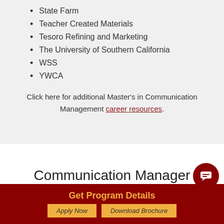State Farm
Teacher Created Materials
Tesoro Refining and Marketing
The University of Southern California
WSS
YWCA
Click here for additional Master’s in Communication Management career resources.
Communication Manager Graduate Salary Range
Get Program Details
Apply Now
Download Brochure